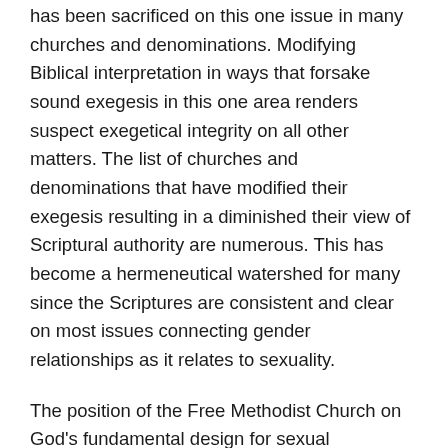has been sacrificed on this one issue in many churches and denominations. Modifying Biblical interpretation in ways that forsake sound exegesis in this one area renders suspect exegetical integrity on all other matters. The list of churches and denominations that have modified their exegesis resulting in a diminished their view of Scriptural authority are numerous. This has become a hermeneutical watershed for many since the Scriptures are consistent and clear on most issues connecting gender relationships as it relates to sexuality.
The position of the Free Methodist Church on God's fundamental design for sexual expression is found in the church's statements in Chapter 3 of the Book of Discipline, specifically in Paragraph 3215 (see also 3214) and matters of monogamy and marriage in Paragraph 3311. A more robust Biblical explanation on same sex behavior is spelled out in the Study Commission on Doctrine's (SCOD)